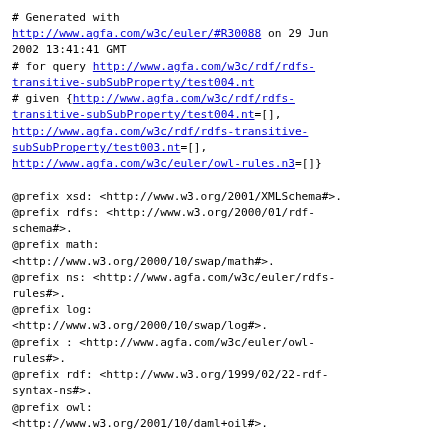# Generated with http://www.agfa.com/w3c/euler/#R30088 on 29 Jun 2002 13:41:41 GMT
# for query http://www.agfa.com/w3c/rdf/rdfs-transitive-subSubProperty/test004.nt
# given {http://www.agfa.com/w3c/rdf/rdfs-transitive-subSubProperty/test004.nt=[], http://www.agfa.com/w3c/rdf/rdfs-transitive-subSubProperty/test003.nt=[], http://www.agfa.com/w3c/euler/owl-rules.n3=[]}

@prefix xsd: <http://www.w3.org/2001/XMLSchema#>.
@prefix rdfs: <http://www.w3.org/2000/01/rdf-schema#>.
@prefix math: <http://www.w3.org/2000/10/swap/math#>.
@prefix ns: <http://www.agfa.com/w3c/euler/rdfs-rules#>.
@prefix log: <http://www.w3.org/2000/10/swap/log#>.
@prefix : <http://www.agfa.com/w3c/euler/owl-rules#>.
@prefix rdf: <http://www.w3.org/1999/02/22-rdf-syntax-ns#>.
@prefix owl: <http://www.w3.org/2001/10/daml+oil#>.

  {
   <http://www.agfa.com/w3c/euler/rdfs-rules#rule6>